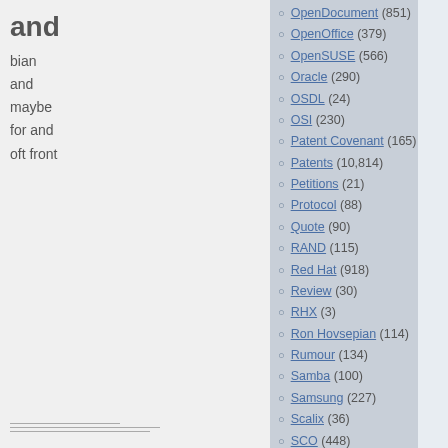and
bian
and
maybe
for and
oft front
l Jim
r
emic and
s like a
OpenDocument (851)
OpenOffice (379)
OpenSUSE (566)
Oracle (290)
OSDL (24)
OSI (230)
Patent Covenant (165)
Patents (10,814)
Petitions (21)
Protocol (88)
Quote (90)
RAND (115)
Red Hat (918)
Review (30)
RHX (3)
Ron Hovsepian (114)
Rumour (134)
Samba (100)
Samsung (227)
Scalix (36)
SCO (448)
Search (246)
Security (970)
Servers (611)
Site News (1,012)
SLES/SLED (532)
Standard (696)